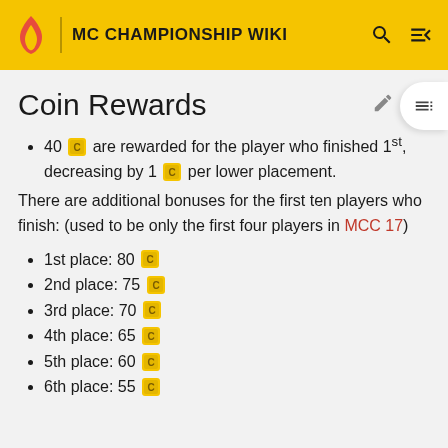MC CHAMPIONSHIP WIKI
Coin Rewards
40 [coin] are rewarded for the player who finished 1st, decreasing by 1 [coin] per lower placement.
There are additional bonuses for the first ten players who finish: (used to be only the first four players in MCC 17)
1st place: 80 [coin]
2nd place: 75 [coin]
3rd place: 70 [coin]
4th place: 65 [coin]
5th place: 60 [coin]
6th place: 55 [coin]